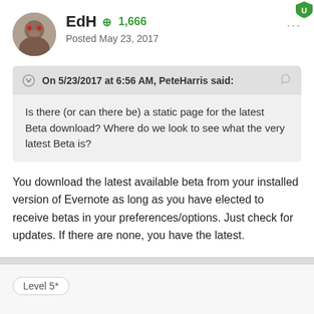EdH  +1,666  Posted May 23, 2017
On 5/23/2017 at 6:56 AM, PeteHarris said:
Is there (or can there be) a static page for the latest Beta download? Where do we look to see what the very latest Beta is?
You download the latest available beta from your installed version of Evernote as long as you have elected to receive betas in your preferences/options. Just check for updates. If there are none, you have the latest.
Level 5*
DTLow  +5,645